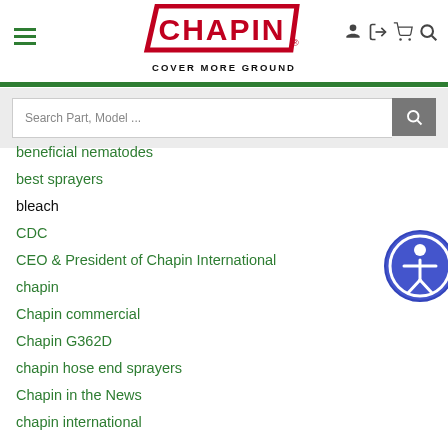[Figure (logo): Chapin logo with red parallelogram border and text, with tagline COVER MORE GROUND]
beneficial nematodes
best sprayers
bleach
CDC
CEO & President of Chapin International
chapin
Chapin commercial
Chapin G362D
chapin hose end sprayers
Chapin in the News
chapin international
chapin international reviews
Chapin Kentucky Plant